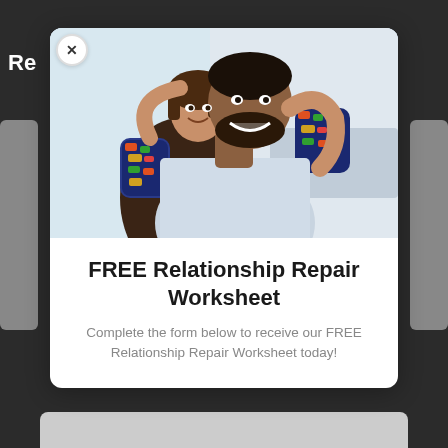[Figure (photo): A smiling couple — a woman with her arms around a man's shoulders from behind, both laughing and looking happy indoors.]
FREE Relationship Repair Worksheet
Complete the form below to receive our FREE Relationship Repair Worksheet today!